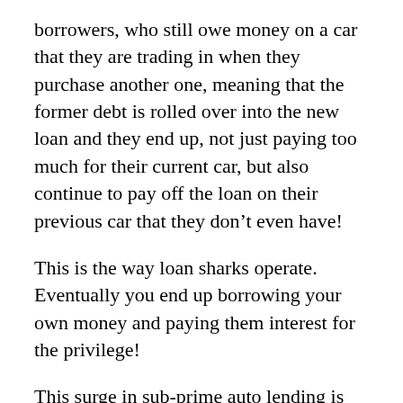borrowers, who still owe money on a car that they are trading in when they purchase another one, meaning that the former debt is rolled over into the new loan and they end up, not just paying too much for their current car, but also continue to pay off the loan on their previous car that they don't even have!
This is the way loan sharks operate. Eventually you end up borrowing your own money and paying them interest for the privilege!
This surge in sub-prime auto lending is being driven by some of the same dynamics that were at work in sub-prime mortgages. There is a veritable deluge of money pouring into sub-prime autos, as the high rates and steady